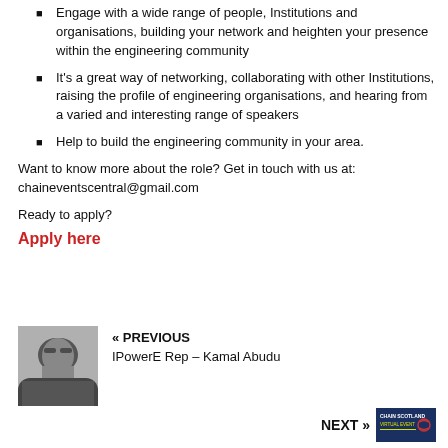Engage with a wide range of people, Institutions and organisations, building your network and heighten your presence within the engineering community
It's a great way of networking, collaborating with other Institutions, raising the profile of engineering organisations, and hearing from a varied and interesting range of speakers
Help to build the engineering community in your area.
Want to know more about the role? Get in touch with us at: chaineventscentral@gmail.com
Ready to apply?
Apply here
[Figure (photo): Black and white portrait photo of a man wearing glasses]
« PREVIOUS
IPowerE Rep – Kamal Abudu
NEXT »
[Figure (logo): Chain Scotland Virtual Event logo with chain link icon]